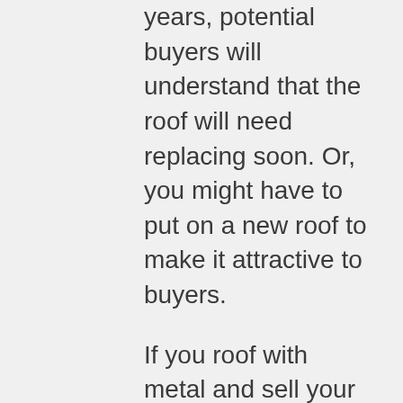years, potential buyers will understand that the roof will need replacing soon. Or, you might have to put on a new roof to make it attractive to buyers.
If you roof with metal and sell your home in as long as 20 years, homebuyers will understand the roof has plenty of life left.
Zinc and Copper: If you are interested in the best longevity, zinc and copper roofs can be expected to last 75 years. Zinc will be showing